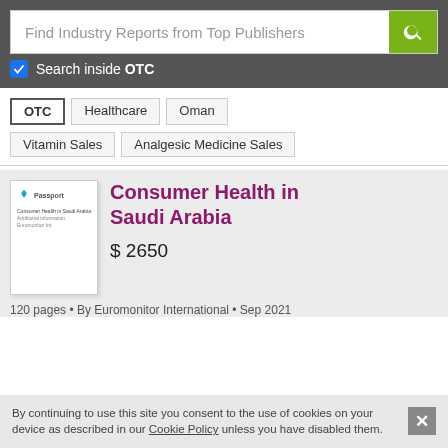Find Industry Reports from Top Publishers
Search inside OTC
OTC
Healthcare
Oman
Vitamin Sales
Analgesic Medicine Sales
Consumer Health in Saudi Arabia
$ 2650
120 pages • By Euromonitor International • Sep 2021
By continuing to use this site you consent to the use of cookies on your device as described in our Cookie Policy unless you have disabled them.